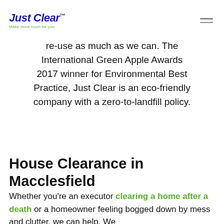Just Clear™ — Make more room for you
re-use as much as we can. The International Green Apple Awards 2017 winner for Environmental Best Practice, Just Clear is an eco-friendly company with a zero-to-landfill policy.
House Clearance in Macclesfield
Whether you're an executor clearing a home after a death or a homeowner feeling bogged down by mess and clutter, we can help. We